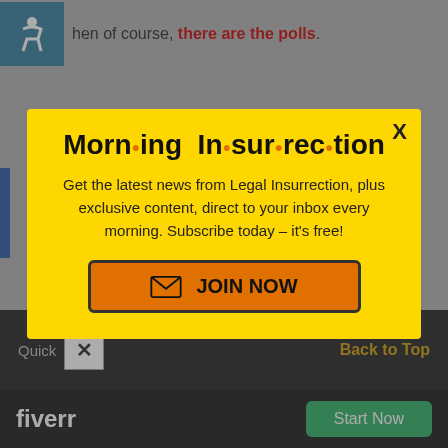hen of course, there are the polls.
[Figure (screenshot): Background webpage with accessibility icon, navigation buttons, dark footer with Quick close button, Back to Top link, Fiverr advertisement, and Start Now button]
Morn·ing In·sur·rec·tion
Get the latest news from Legal Insurrection, plus exclusive content, direct to your inbox every morning. Subscribe today – it's free!
JOIN NOW